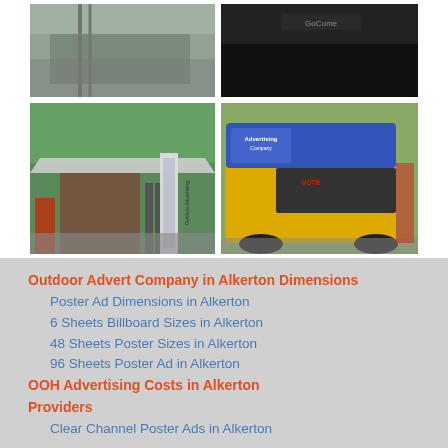[Figure (photo): Top-left photo: a car or vehicle near a fence/railing, partially cropped]
[Figure (photo): Top-right photo: a dark billboard or signage with small text/logo visible]
[Figure (photo): Bottom-left photo: a bus shelter/stop with curved roof and an advertising totem/sign post]
[Figure (photo): Bottom-right photo: a yellow and blue double-decker bus on a road with advertising on side]
Outdoor Advert Company in Alkerton Dimensions
Poster Ad Dimensions in Alkerton
6 Sheets Billboard Sizes in Alkerton
48 Sheets Poster Sizes in Alkerton
96 Sheets Poster Ad in Alkerton
OOH Advertising Costs in Alkerton
Providers
Clear Channel Poster Ads in Alkerton